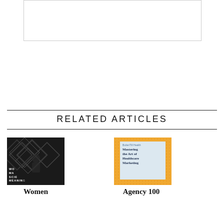[Figure (other): A white rectangular image placeholder box with a light border at the top of the page]
RELATED ARTICLES
[Figure (photo): A dark geometric patterned background with a person silhouette and text overlay reading WO MA SCIE MEANING]
Women
[Figure (photo): An orange dotted book cover with white box containing text 'Mastering the Art of Healthcare Marketing' with publisher 'Butler/Till Health']
Agency 100